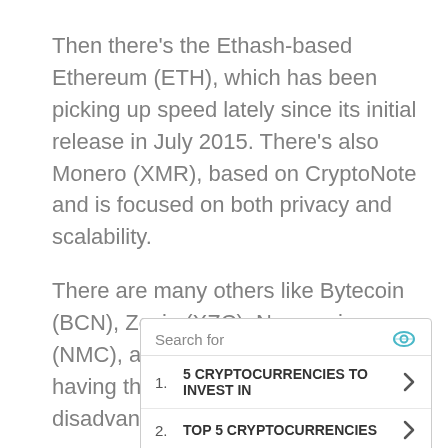Then there's the Ethash-based Ethereum (ETH), which has been picking up speed lately since its initial release in July 2015. There's also Monero (XMR), based on CryptoNote and is focused on both privacy and scalability.
There are many others like Bytecoin (BCN), Zcoin (XZC), Namecoin (NMC), and many others, each having their own advantages and disadvantages.
[Figure (other): Search ad widget with header 'Search for' and eye icon, listing two items: 1. 5 CRYPTOCURRENCIES TO INVEST IN, 2. TOP 5 CRYPTOCURRENCIES, each with a right chevron arrow.]